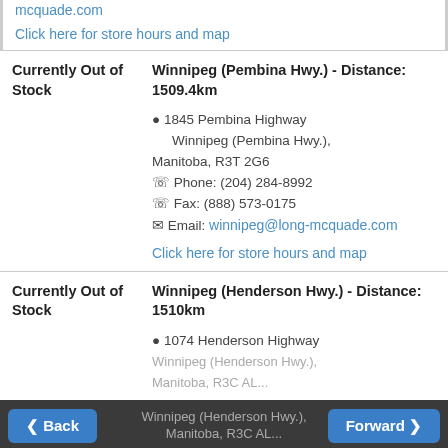mcquade.com
Click here for store hours and map
| Currently Out of Stock | Winnipeg (Pembina Hwy.) - Distance: 1509.4km
1845 Pembina Highway Winnipeg (Pembina Hwy.), Manitoba, R3T 2G6
Phone: (204) 284-8992
Fax: (888) 573-0175
Email: winnipeg@long-mcquade.com
Click here for store hours and map |
| Currently Out of Stock | Winnipeg (Henderson Hwy.) - Distance: 1510km
1074 Henderson Highway Winnipeg (Henderson Hwy.), Manitoba, R3C AL... |
Back | Forward